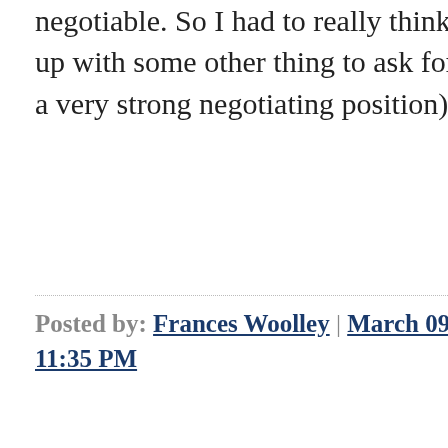negotiable. So I had to really think to come up with some other thing to ask for (I was in a very strong negotiating position).
Posted by: Frances Woolley | March 09, 2013 at 11:35 PM
I wonder how many people in the private sector can really negotiate 'appointment level'? Most firms aren't going to make an offer for position X and then allow themselves to be negotiated into hiring for position Y, where Y is more senior than X. Do Universities